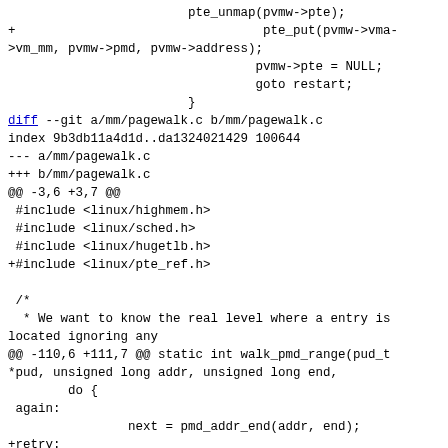pte_unmap(pvmw->pte);
+					pte_put(pvmw->vma->vm_mm, pvmw->pmd, pvmw->address);
					pvmw->pte = NULL;
					goto restart;
				}
diff --git a/mm/pagewalk.c b/mm/pagewalk.c
index 9b3db11a4d1d..da1324021429 100644
--- a/mm/pagewalk.c
+++ b/mm/pagewalk.c
@@ -3,6 +3,7 @@
 #include <linux/highmem.h>
 #include <linux/sched.h>
 #include <linux/hugetlb.h>
+#include <linux/pte_ref.h>

 /*
  * We want to know the real level where a entry is located ignoring any
@@ -110,6 +111,7 @@ static int walk_pmd_range(pud_t *pud, unsigned long addr, unsigned long end,
		do {
 again:
			next = pmd_addr_end(addr, end);
+retry:
			if (pmd_none(*pmd) || (!walk->vma &&
!walk->no_vma)) {
				if (ops->pte_hole)
					err = ops->pte_hole(addr, next, depth, walk);